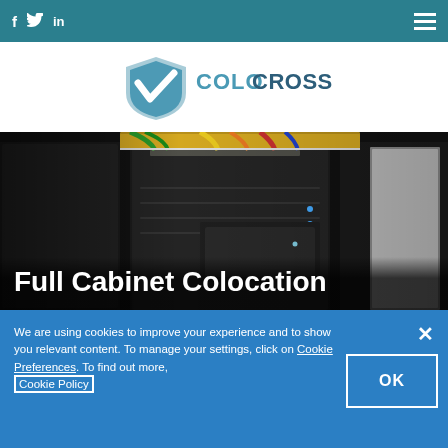f  Twitter  in  ☰
[Figure (logo): ColoCrossing logo with shield icon and text COLOCROSSING in teal/blue]
[Figure (photo): Data center photo showing server racks with colorful cables overhead]
Full Cabinet Colocation
We are using cookies to improve your experience and to show you relevant content. To manage your settings, click on Cookie Preferences. To find out more,
OK